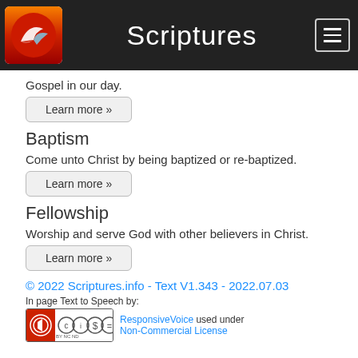Scriptures
Gospel in our day.
Learn more »
Baptism
Come unto Christ by being baptized or re-baptized.
Learn more »
Fellowship
Worship and serve God with other believers in Christ.
Learn more »
© 2022 Scriptures.info - Text V1.343 - 2022.07.03
In page Text to Speech by: ResponsiveVoice used under Non-Commercial License